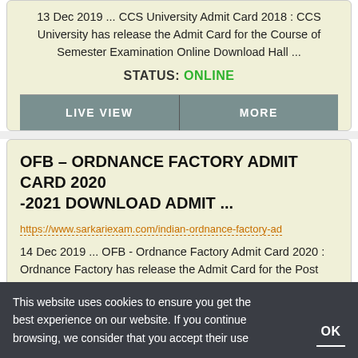13 Dec 2019 ... CCS University Admit Card 2018 : CCS University has release the Admit Card for the Course of Semester Examination Online Download Hall ...
STATUS: ONLINE
LIVE VIEW
MORE
OFB – ORDNANCE FACTORY ADMIT CARD 2020 -2021 DOWNLOAD ADMIT ...
https://www.sarkariexam.com/indian-ordnance-factory-ad
14 Dec 2019 ... OFB - Ordnance Factory Admit Card 2020 : Ordnance Factory has release the Admit Card for the Post
This website uses cookies to ensure you get the best experience on our website. If you continue browsing, we consider that you accept their use